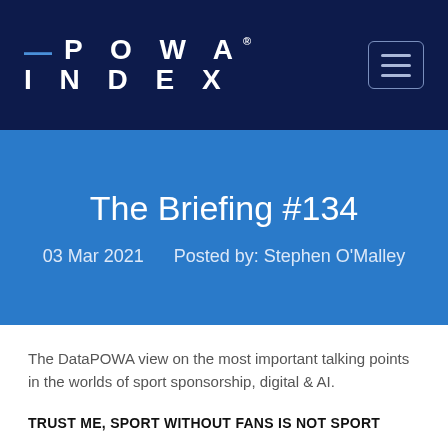POWA INDEX
The Briefing #134
03 Mar 2021   Posted by: Stephen O'Malley
The DataPOWA view on the most important talking points in the worlds of sport sponsorship, digital & AI.
TRUST ME, SPORT WITHOUT FANS IS NOT SPORT